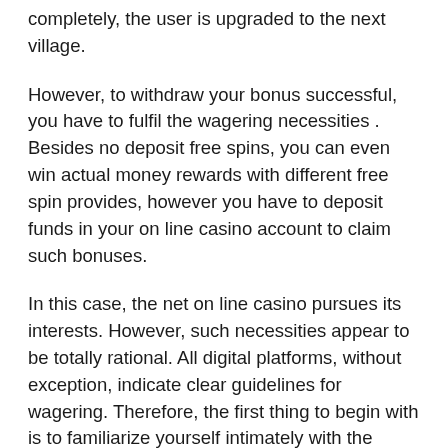completely, the user is upgraded to the next village.
However, to withdraw your bonus successful, you have to fulfil the wagering necessities . Besides no deposit free spins, you can even win actual money rewards with different free spin provides, however you have to deposit funds in your on line casino account to claim such bonuses.
In this case, the net on line casino pursues its interests. However, such necessities appear to be totally rational. All digital platforms, without exception, indicate clear guidelines for wagering. Therefore, the first thing to begin with is to familiarize yourself intimately with the terms of the promotion. For instance, when you find that you have to fulfill the x10 wagering requirement, you will need to clear the present ten instances before withdrawing even one greenback. There are multiple ways to earn cards in coin master: the user will got